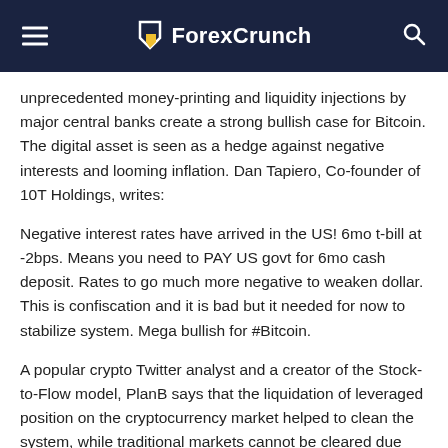ForexCrunch
unprecedented money-printing and liquidity injections by major central banks create a strong bullish case for Bitcoin. The digital asset is seen as a hedge against negative interests and looming inflation. Dan Tapiero, Co-founder of 10T Holdings, writes:
Negative interest rates have arrived in the US! 6mo t-bill at -2bps. Means you need to PAY US govt for 6mo cash deposit. Rates to go much more negative to weaken dollar. This is confiscation and it is bad but it needed for now to stabilize system. Mega bullish for #Bitcoin.
A popular crypto Twitter analyst and a creator of the Stock-to-Flow model, PlanB says that the liquidation of leveraged position on the cryptocurrency market helped to clean the system, while traditional markets cannot be cleared due constant interventions aimed to prevent